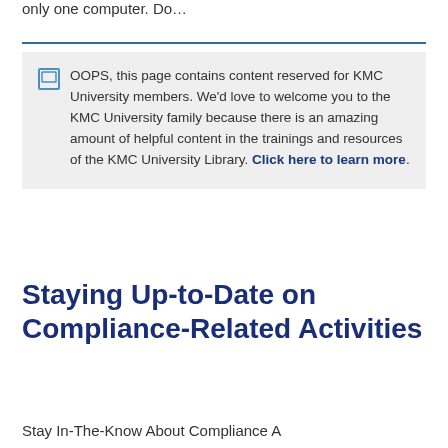only one computer. Do…
OOPS, this page contains content reserved for KMC University members. We'd love to welcome you to the KMC University family because there is an amazing amount of helpful content in the trainings and resources of the KMC University Library. Click here to learn more.
Staying Up-to-Date on Compliance-Related Activities
Stay In-The-Know About Compliance A